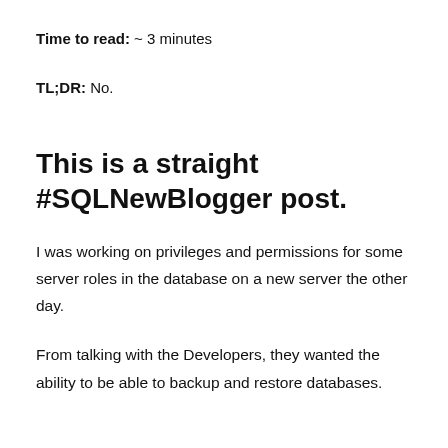Time to read: ~ 3 minutes
TL;DR: No.
This is a straight #SQLNewBlogger post.
I was working on privileges and permissions for some server roles in the database on a new server the other day.
From talking with the Developers, they wanted the ability to be able to backup and restore databases.